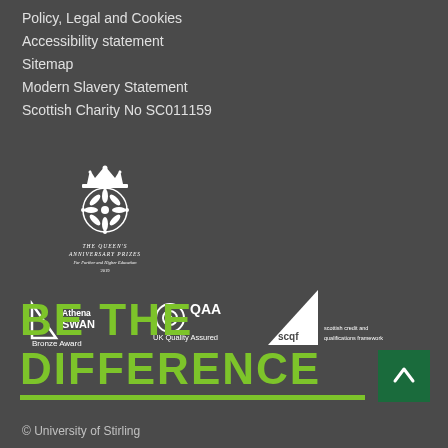Policy, Legal and Cookies
Accessibility statement
Sitemap
Modern Slavery Statement
Scottish Charity No SC011159
[Figure (logo): The Queen's Anniversary Prizes logo - crown above a floral emblem, text 'The Queen's Anniversary Prizes For Further and Higher Education 2019']
[Figure (logo): Athena SWAN Bronze Award logo]
[Figure (logo): QAA UK Quality Assured logo]
[Figure (logo): SCQF Scottish Credit and Qualifications Framework logo]
BE THE DIFFERENCE
© University of Stirling